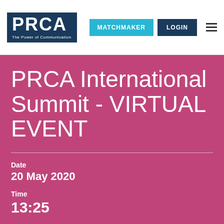[Figure (logo): PRCA logo - white text on dark navy blue background. 'PRCA' in large bold letters with 'The Power of Communication' tagline below.]
MATCHMAKER | LOGIN
PRCA International Summit - VIRTUAL EVENT
Date
20 May 2020
Time
13:25